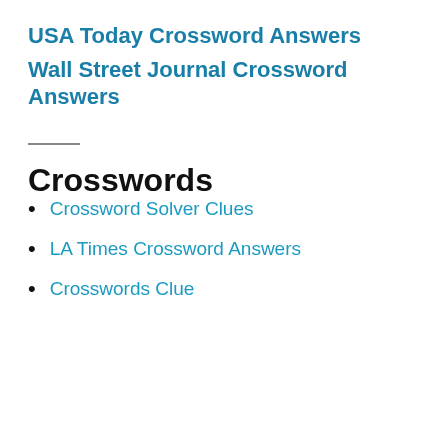USA Today Crossword Answers
Wall Street Journal Crossword Answers
Crosswords
Crossword Solver Clues
LA Times Crossword Answers
Crosswords Clue